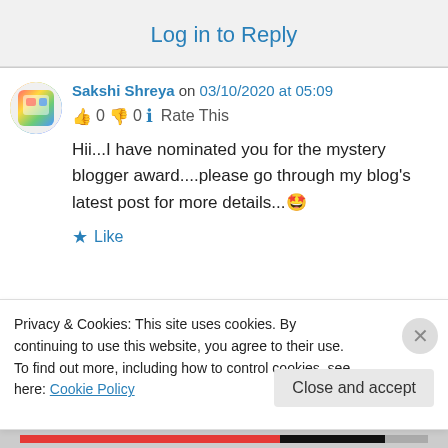Log in to Reply
Sakshi Shreya on 03/10/2020 at 05:09
👍 0 👎 0 ℹ Rate This
Hii...I have nominated you for the mystery blogger award....please go through my blog's latest post for more details...🤩
★ Like
Privacy & Cookies: This site uses cookies. By continuing to use this website, you agree to their use.
To find out more, including how to control cookies, see here: Cookie Policy
Close and accept